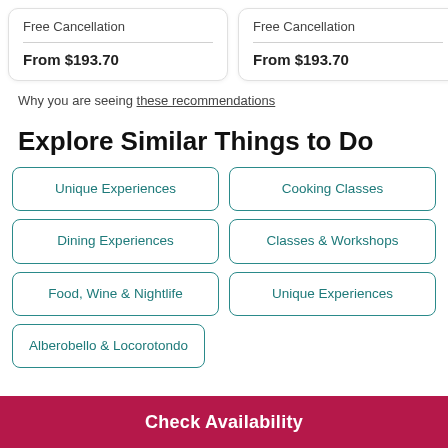Free Cancellation
From $193.70
Free Cancellation
From $193.70
Free
From
Why you are seeing these recommendations
Explore Similar Things to Do
Unique Experiences
Cooking Classes
Dining Experiences
Classes & Workshops
Food, Wine & Nightlife
Unique Experiences
Alberobello & Locorotondo
Check Availability